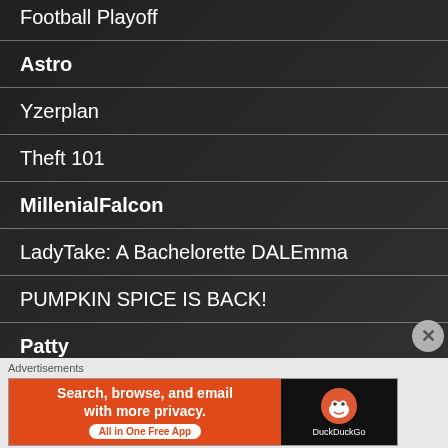Football Playoff
Astro
Yzerplan
Theft 101
MillenialFalcon
LadyTake: A Bachelorette DALEmma
PUMPKIN SPICE IS BACK!
Patty
S.Mojito
[Figure (infographic): DuckDuckGo advertisement banner: orange left panel with text 'Search, browse, and email with more privacy. All in One Free App', black right panel with DuckDuckGo duck logo and brand name.]